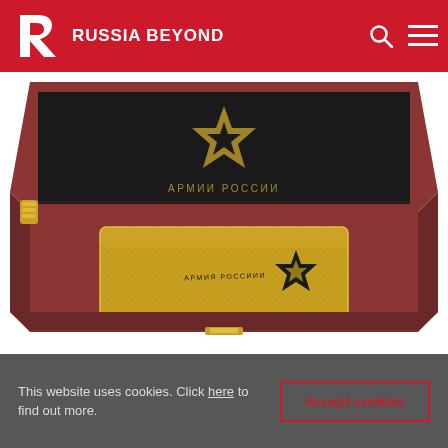RUSSIA BEYOND
[Figure (photo): A gold-plated tablet with a black Russian Army star logo, displayed in an open dark-lined wooden gift box with a star and 'АРМИИ РОССИИ' inscription on the lid interior. The box appears to be made of polished dark wood with gold hardware.]
This website uses cookies. Click here to find out more.